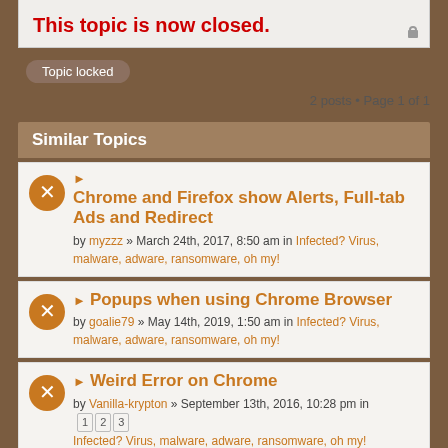This topic is now closed.
Topic locked
2 posts • Page 1 of 1
Similar Topics
Chrome and Firefox show Alerts, Full-tab Ads and Redirect
by myzzz » March 24th, 2017, 8:50 am in Infected? Virus, malware, adware, ransomware, oh my!
Popups when using Chrome Browser
by goalie79 » May 14th, 2019, 1:50 am in Infected? Virus, malware, adware, ransomware, oh my!
Weird Error on Chrome
by Vanilla-krypton » September 13th, 2016, 10:28 pm in Infected? Virus, malware, adware, ransomware, oh my!
Malware on YouTube and Chrome
by Elwin » October 2nd, 2017, 10:57 am in Infected? Virus, malware, adware, ransomware, oh my!